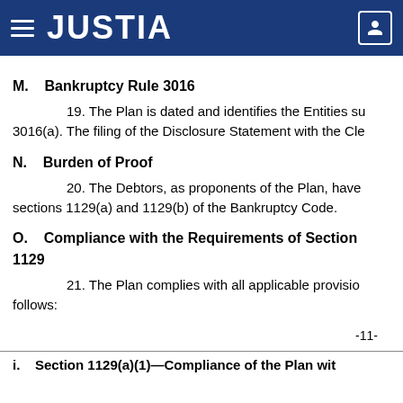JUSTIA
M.    Bankruptcy Rule 3016
19. The Plan is dated and identifies the Entities su 3016(a). The filing of the Disclosure Statement with the Cle
N.    Burden of Proof
20. The Debtors, as proponents of the Plan, have sections 1129(a) and 1129(b) of the Bankruptcy Code.
O.    Compliance with the Requirements of Section 1129
21. The Plan complies with all applicable provisio follows:
-11-
i.    Section 1129(a)(1)—Compliance of the Plan wit